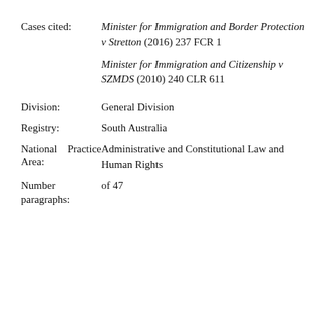Cases cited: Minister for Immigration and Border Protection v Stretton (2016) 237 FCR 1
Minister for Immigration and Citizenship v SZMDS (2010) 240 CLR 611
Division: General Division
Registry: South Australia
National Practice Area: Administrative and Constitutional Law and Human Rights
Number of 47 paragraphs: